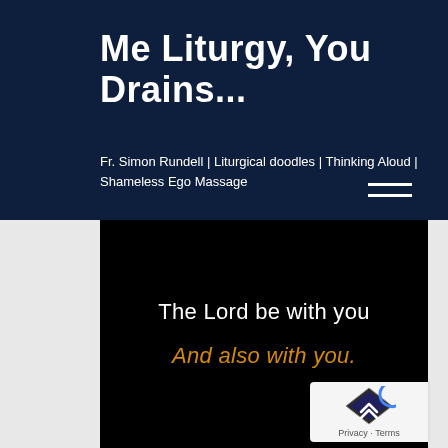Me Liturgy, You Drains...
Fr. Simon Rundell | Liturgical doodles | Thinking Aloud | Shameless Ego Massage
[Figure (screenshot): Black video frame showing liturgical text: 'The Lord be with you' in white and 'And also with you.' in orange/gold italic text on a black background.]